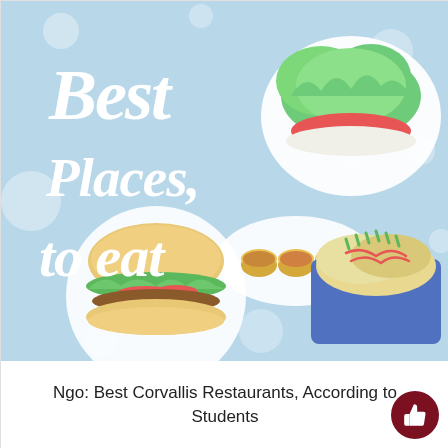[Figure (illustration): Illustrated artwork on a light blue background with white polka dots. Cursive white text reads 'Best Places to eat'. Four food illustrations in white circular/oval frames: top right shows a burger bun with green lettuce and red tomato, center shows three small yellow/brown tart cups, bottom left shows a burger with green lettuce and red tomato, bottom right shows a plate of loaded fries or nachos on a blue tray with red and green toppings.]
Ngo: Best Corvallis Restaurants, According to Students